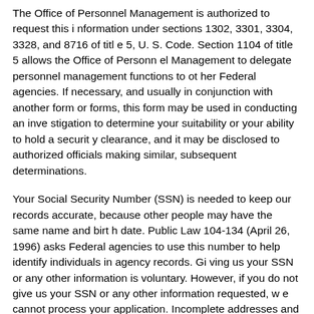The Office of Personnel Management is authorized to request this information under sections 1302, 3301, 3304, 3328, and 8716 of title 5, U. S. Code. Section 1104 of title 5 allows the Office of Personnel Management to delegate personnel management functions to other Federal agencies. If necessary, and usually in conjunction with another form or forms, this form may be used in conducting an investigation to determine your suitability or your ability to hold a security clearance, and it may be disclosed to authorized officials making similar, subsequent determinations.
Your Social Security Number (SSN) is needed to keep our records accurate, because other people may have the same name and birth date. Public Law 104-134 (April 26, 1996) asks Federal agencies to use this number to help identify individuals in agency records. Giving us your SSN or any other information is voluntary. However, if you do not give us your SSN or any other information requested, we cannot process your application. Incomplete addresses and ZIP Codes may also slow processing.
ROUTINE USES: Any disclosure of this record or information in this record is in accordance with routine uses found in System Notice OPM/GOVT-1, General Personnel Records. This system allows disclosure...